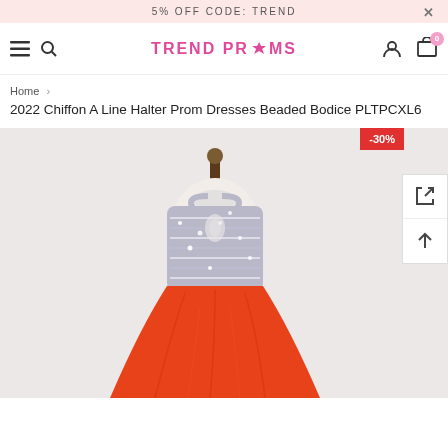5% OFF CODE: TREND
[Figure (logo): TREND PROMS logo in pink with crown icon]
Home > 2022 Chiffon A Line Halter Prom Dresses Beaded Bodice PLTPCXL6
2022 Chiffon A Line Halter Prom Dresses Beaded Bodice PLTPCXL6
[Figure (photo): A prom dress on a mannequin — halter neckline with silver beaded/sequined bodice and orange-red chiffon skirt. Discount badge showing -30% in top right. Two side action buttons (fullscreen and scroll-to-top).]